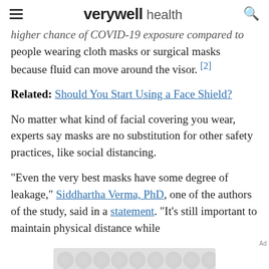verywell health
higher chance of COVID-19 exposure compared to people wearing cloth masks or surgical masks because fluid can move around the visor. [2]
Related: Should You Start Using a Face Shield?
No matter what kind of facial covering you wear, experts say masks are no substitution for other safety practices, like social distancing.
"Even the very best masks have some degree of leakage," Siddhartha Verma, PhD, one of the authors of the study, said in a statement. "It's still important to maintain physical distance while
[Figure (other): Advertisement placeholder with circular pattern background]